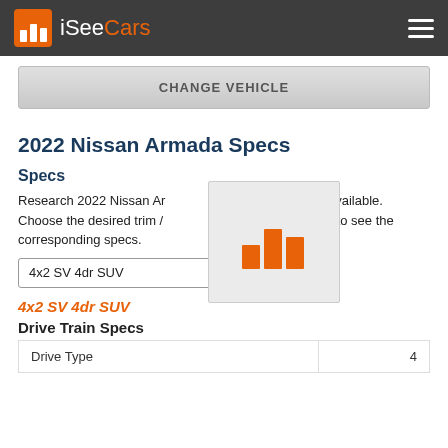iSeeCars
CHANGE VEHICLE
2022 Nissan Armada Specs
Specs
Research 2022 Nissan Armada specs for all the trims available. Choose the desired trim / configuration from the dropdown list to see the corresponding specs.
[Figure (logo): iSeeCars bar chart logo icon (orange bars on gray background), tooltip style overlay]
4x2 SV 4dr SUV
4x2 SV 4dr SUV
Drive Train Specs
Drive Type